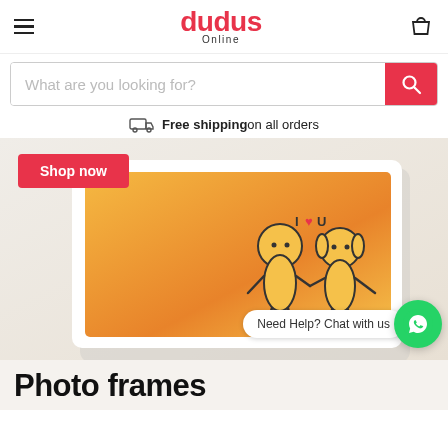dudus Online — navigation header with hamburger menu and shopping bag
What are you looking for?
Free shipping on all orders
[Figure (photo): Photo of a white-framed tile/block with orange gradient background and cartoon stick figure couple with 'I ♥ U' text, displayed on a light beige background. A red 'Shop now' button is overlaid top-left.]
Need Help? Chat with us
Photo frames